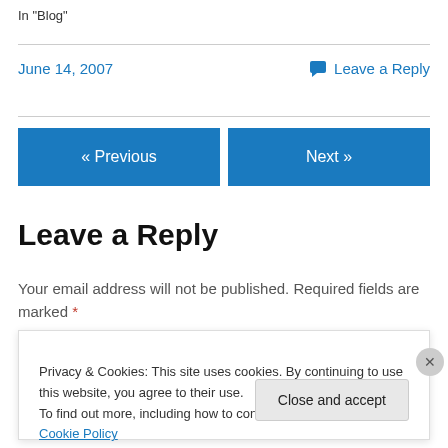In "Blog"
June 14, 2007
Leave a Reply
« Previous
Next »
Leave a Reply
Your email address will not be published. Required fields are marked *
Privacy & Cookies: This site uses cookies. By continuing to use this website, you agree to their use.
To find out more, including how to control cookies, see here: Cookie Policy
Close and accept